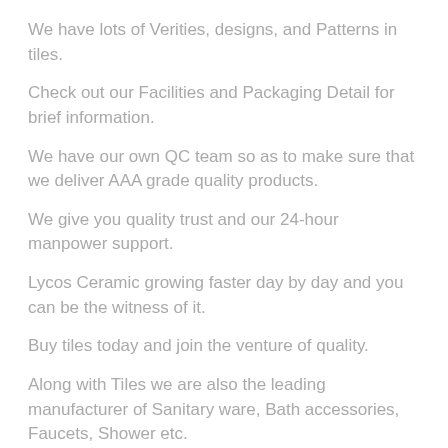We have lots of Verities, designs, and Patterns in tiles.
Check out our Facilities and Packaging Detail for brief information.
We have our own QC team so as to make sure that we deliver AAA grade quality products.
We give you quality trust and our 24-hour manpower support.
Lycos Ceramic growing faster day by day and you can be the witness of it.
Buy tiles today and join the venture of quality.
Along with Tiles we are also the leading manufacturer of Sanitary ware, Bath accessories, Faucets, Shower etc.